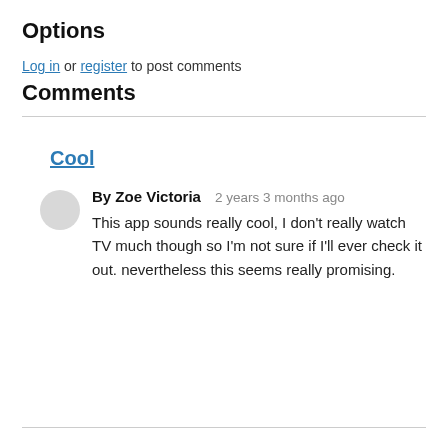Options
Log in or register to post comments
Comments
Cool
By Zoe Victoria   2 years 3 months ago
This app sounds really cool, I don't really watch TV much though so I'm not sure if I'll ever check it out. nevertheless this seems really promising.